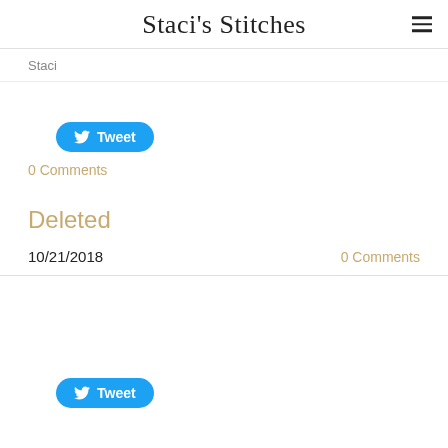Staci's Stitches
Staci
[Figure (other): Tweet button (Twitter share button in blue pill shape with bird icon)]
0 Comments
Deleted
10/21/2018
0 Comments
[Figure (other): Tweet button (Twitter share button in blue pill shape with bird icon)]